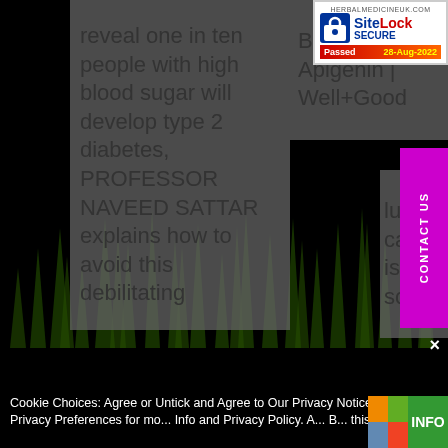reveal one in ten people with high blood sugar will develop type 2 diabetes, PROFESSOR NAVEED SATTAR explains how to avoid this debilitating
Brain-Boosting Apigenin | Well+Good
[Figure (other): SiteLock SECURE badge from HERBALMEDICINEUK.COM showing Passed 28-Aug-2022]
lung canc... is solved...
[Figure (other): CONTACT US vertical magenta/pink button on right side]
[Figure (other): Green grass/plant silhouette background at bottom of page]
Cookie Choices: Agree or Untick and Agree to Our Privacy Notice. Click Privacy Preferences for more Info and Privacy Policy. A... Passing this Notice...
[Figure (other): INFO badge with colorful image and green INFO label at bottom right]